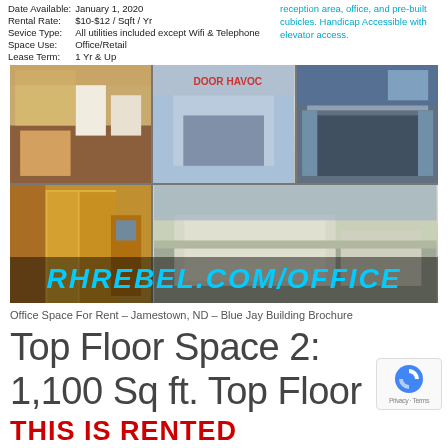Date Available: January 1, 2020
Rental Rate: $10-$12 / Sqft / Yr
Sevice Type: All utilities included except Wifi & Telephone
Space Use: Office/Retail
Lease Term: 1 Yr & Up
reception area, office, and pre-built cubicles. Handicap Accessible with elevator access.
[Figure (photo): Collage of office space photos including kitchen, office area, conference room, elevator, and exterior of Blue Jay Building. Watermark reads RHREBEL.COM/OFFICE]
Office Space For Rent – Jamestown, ND – Blue Jay Building Brochure
Top Floor Space 2: 1,100 Sq ft. Top Floor
THIS IS RENTED